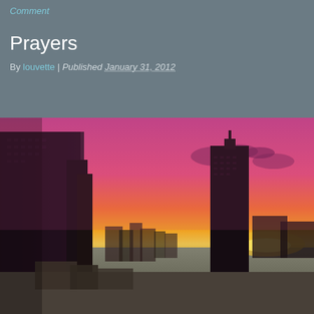Comment
Prayers
By louvette | Published January 31, 2012
[Figure (photo): City skyline at sunset with vibrant pink and orange sky, tall skyscrapers silhouetted in the foreground against a dramatic gradient sky transitioning from deep pink at the top to golden orange near the horizon.]